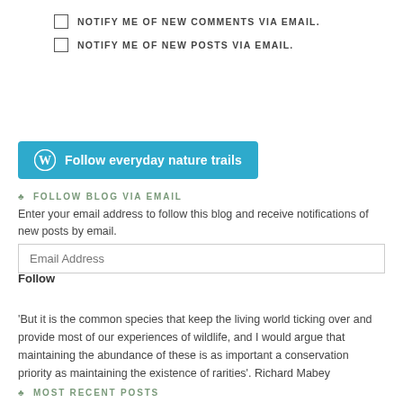NOTIFY ME OF NEW COMMENTS VIA EMAIL.
NOTIFY ME OF NEW POSTS VIA EMAIL.
[Figure (other): Follow everyday nature trails button with WordPress logo on teal/blue background]
♣ FOLLOW BLOG VIA EMAIL
Enter your email address to follow this blog and receive notifications of new posts by email.
Email Address
Follow
'But it is the common species that keep the living world ticking over and provide most of our experiences of wildlife, and I would argue that maintaining the abundance of these is as important a conservation priority as maintaining the existence of rarities'. Richard Mabey
♣ MOST RECENT POSTS